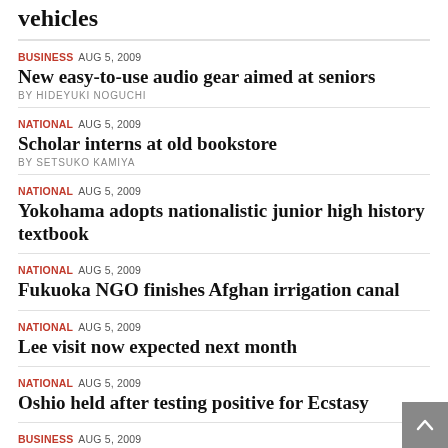vehicles
BUSINESS AUG 5, 2009 — New easy-to-use audio gear aimed at seniors — BY HIDEYUKI NOGUCHI
NATIONAL AUG 5, 2009 — Scholar interns at old bookstore — BY SETSUKO KAMIYA
NATIONAL AUG 5, 2009 — Yokohama adopts nationalistic junior high history textbook
NATIONAL AUG 5, 2009 — Fukuoka NGO finishes Afghan irrigation canal
NATIONAL AUG 5, 2009 — Lee visit now expected next month
NATIONAL AUG 5, 2009 — Oshio held after testing positive for Ecstasy
BUSINESS AUG 5, 2009 — Seven-Eleven decides to allow discount sales of food